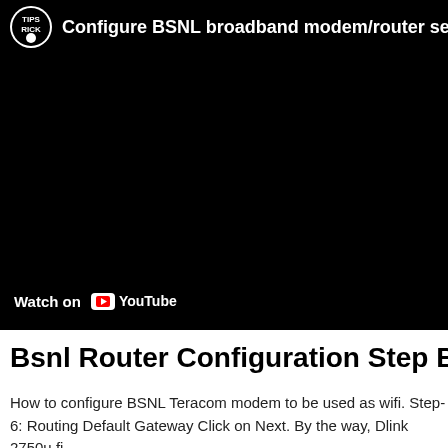[Figure (screenshot): YouTube video embed showing a dark/black video frame with channel logo (Tips Rick) and title 'Configure BSNL broadband modem/router setu...' at top, and a 'Watch on YouTube' button at bottom left.]
Bsnl Router Configuration Step By Ste
How to configure BSNL Teracom modem to be used as wifi. Step-6: Routing Default Gateway Click on Next. By the way, Dlink 2750u fi